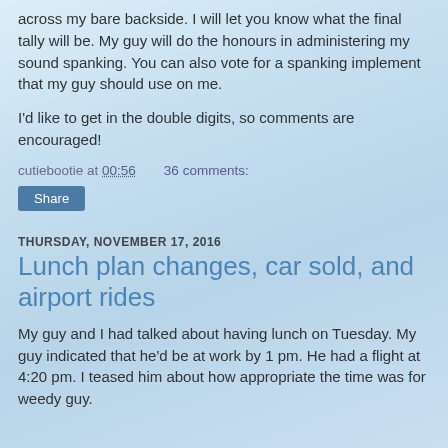across my bare backside. I will let you know what the final tally will be. My guy will do the honours in administering my sound spanking. You can also vote for a spanking implement that my guy should use on me.
I'd like to get in the double digits, so comments are encouraged!
cutiebootie at 00:56    36 comments:
Share
THURSDAY, NOVEMBER 17, 2016
Lunch plan changes, car sold, and airport rides
My guy and I had talked about having lunch on Tuesday. My guy indicated that he'd be at work by 1 pm. He had a flight at 4:20 pm. I teased him about how appropriate the time was for weedy guy.